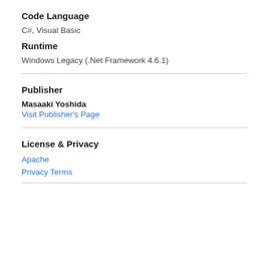Code Language
C#, Visual Basic
Runtime
Windows Legacy (.Net Framework 4.6.1)
Publisher
Masaaki Yoshida
Visit Publisher's Page
License & Privacy
Apache
Privacy Terms